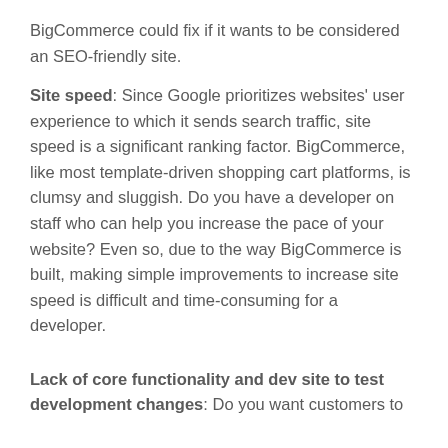BigCommerce could fix if it wants to be considered an SEO-friendly site.
Site speed: Since Google prioritizes websites' user experience to which it sends search traffic, site speed is a significant ranking factor. BigCommerce, like most template-driven shopping cart platforms, is clumsy and sluggish. Do you have a developer on staff who can help you increase the pace of your website? Even so, due to the way BigCommerce is built, making simple improvements to increase site speed is difficult and time-consuming for a developer.
Lack of core functionality and dev site to test development changes: Do you want customers to